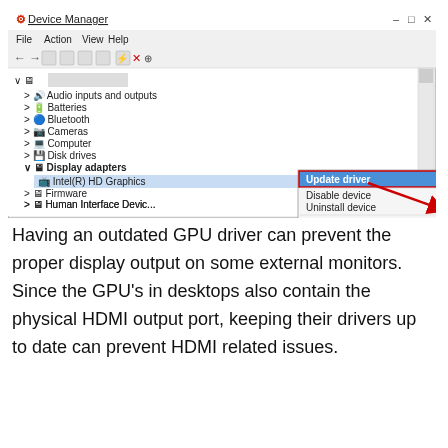[Figure (screenshot): Windows Device Manager screenshot showing a right-click context menu on 'Intel(R) HD Graphics' under 'Display adapters', with 'Update driver' highlighted in blue at the top of the menu. Menu also shows 'Disable device', 'Uninstall device', 'Scan for hardware changes', and 'Properties'. A red arrow points to the context menu.]
Having an outdated GPU driver can prevent the proper display output on some external monitors. Since the GPU's in desktops also contain the physical HDMI output port, keeping their drivers up to date can prevent HDMI related issues.